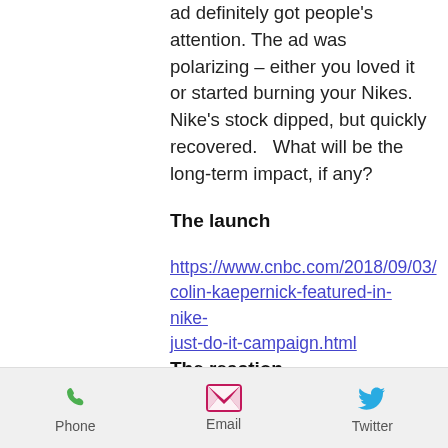ad definitely got people's attention. The ad was polarizing – either you loved it or started burning your Nikes. Nike's stock dipped, but quickly recovered.   What will be the long-term impact, if any?
The launch
https://www.cnbc.com/2018/09/03/colin-kaepernick-featured-in-nike-just-do-it-campaign.html
The reaction
Consumer Outrage:
https://www.cnbc.com/2018/0...
Phone   Email   Twitter